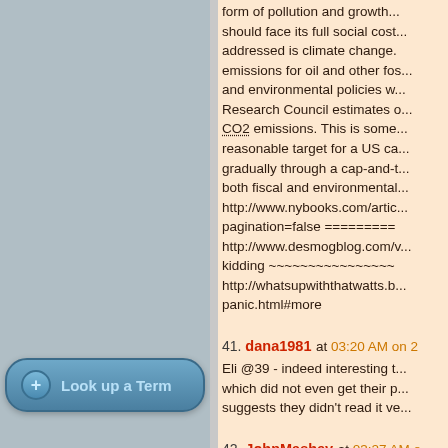...form of pollution and growth... should face its full social cost... addressed is climate change. emissions for oil and other fossil... and environmental policies w... Research Council estimates o... CO2 emissions. This is some... reasonable target for a US ca... gradually through a cap-and-t... both fiscal and environmental... http://www.nybooks.com/artic... pagination=false ========= http://www.desmogblog.com/v... kidding ~~~~~~~~~~~~~~~~ http://whatsupwiththatwatts.b... panic.html#more
41. dana1981 at 03:20 AM on 2 ... Eli @39 - indeed interesting t... which did not even get their p... suggests they didn't read it ve...
42. JohnMashey at 03:27 AM o... Scott Armstrong: Heartland IC... ICCC-4. Science advisory bo...
Look up a Term